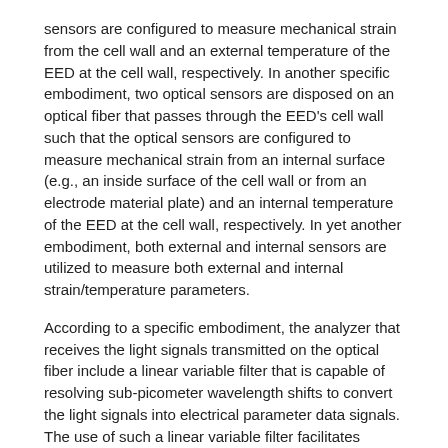sensors are configured to measure mechanical strain from the cell wall and an external temperature of the EED at the cell wall, respectively. In another specific embodiment, two optical sensors are disposed on an optical fiber that passes through the EED's cell wall such that the optical sensors are configured to measure mechanical strain from an internal surface (e.g., an inside surface of the cell wall or from an electrode material plate) and an internal temperature of the EED at the cell wall, respectively. In yet another embodiment, both external and internal sensors are utilized to measure both external and internal strain/temperature parameters.
According to a specific embodiment, the analyzer that receives the light signals transmitted on the optical fiber include a linear variable filter that is capable of resolving sub-picometer wavelength shifts to convert the light signals into electrical parameter data signals. The use of such a linear variable filter facilitates accurate detection and measurement of the minute parameter changes associated with intercalation stage changes.
According to an embodiment of the present invention, a